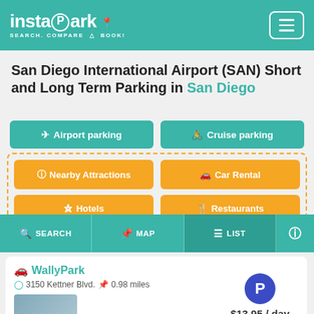instaPark - SEARCH. COMPARE. BOOK!
San Diego International Airport (SAN) Short and Long Term Parking in San Diego
Airport parking
Cruise parking
Nearby Attractions
Car Rental
Hotels
Restaurants
SEARCH
MAP
LIST
WallyPark
3150 Kettner Blvd. 0.98 miles
$13.95 / day